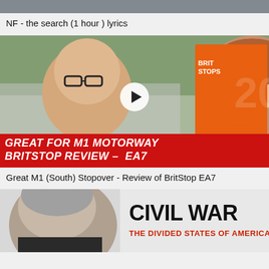[Figure (screenshot): Partial thumbnail of a video at the top of the page, cropped — shows a blurry outdoor scene]
NF - the search (1 hour ) lyrics
[Figure (screenshot): Thumbnail of YouTube video showing two people making surprised faces holding a BritStops book/guide, with red overlay text reading GREAT FOR M1 MOTORWAY BRITSTOP REVIEW - EA7 and a play button in the center]
Great M1 (South) Stopover - Review of BritStop EA7
[Figure (screenshot): Partial thumbnail showing a man's face on the left and bold text CIVIL WAR THE DIVIDED STATES OF AMERICA on the right]